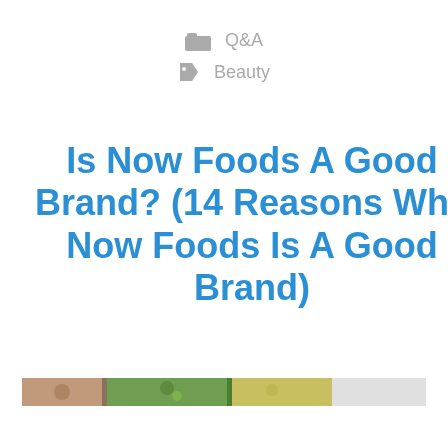Q&A
Beauty
Is Now Foods A Good Brand? (14 Reasons Why Now Foods Is A Good Brand)
[Figure (photo): Partial image strip showing food/nature items at the bottom of the page]